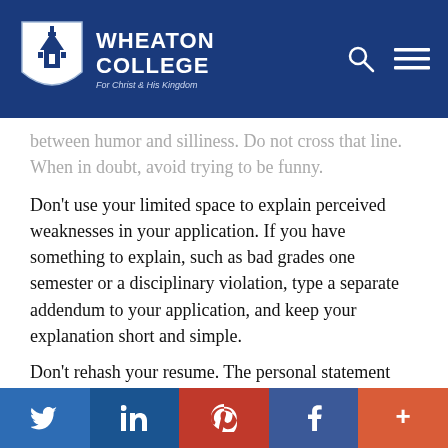Wheaton College — For Christ and His Kingdom
between humor and silliness. Do not cross that line. When in doubt, avoid trying to be funny.
Don't use your limited space to explain perceived weaknesses in your application. If you have something to explain, such as bad grades one semester or a disciplinary violation, type a separate addendum to your application, and keep your explanation short and simple.
Don't rehash your resume. The personal statement
Twitter | LinkedIn | Pinterest | Facebook | More